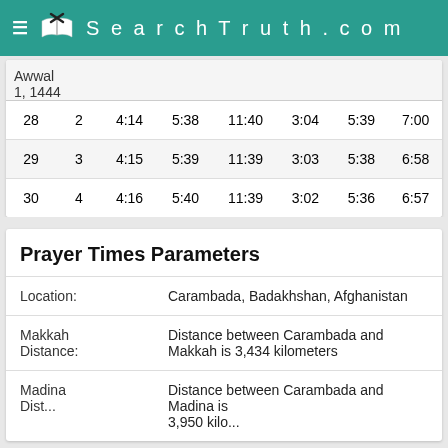SearchTruth.com
|  | Awwal 1, 1444 |  |  |  |  |  |  |
| --- | --- | --- | --- | --- | --- | --- | --- |
| 28 | 2 | 4:14 | 5:38 | 11:40 | 3:04 | 5:39 | 7:00 |
| 29 | 3 | 4:15 | 5:39 | 11:39 | 3:03 | 5:38 | 6:58 |
| 30 | 4 | 4:16 | 5:40 | 11:39 | 3:02 | 5:36 | 6:57 |
Prayer Times Parameters
|  |  |
| --- | --- |
| Location: | Carambada, Badakhshan, Afghanistan |
| Makkah Distance: | Distance between Carambada and Makkah is 3,434 kilometers |
| Madina Distance: | Distance between Carambada and Madina is 3,950 kilometers |